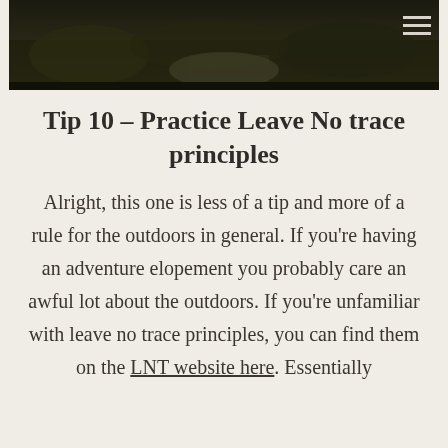[Figure (photo): Aerial or landscape photo of a forest/waterfall scene with dark tones, used as a page header banner. A hamburger menu icon is visible in the top right corner.]
Tip 10 – Practice Leave No trace principles
Alright, this one is less of a tip and more of a rule for the outdoors in general. If you're having an adventure elopement you probably care an awful lot about the outdoors. If you're unfamiliar with leave no trace principles, you can find them on the LNT website here. Essentially